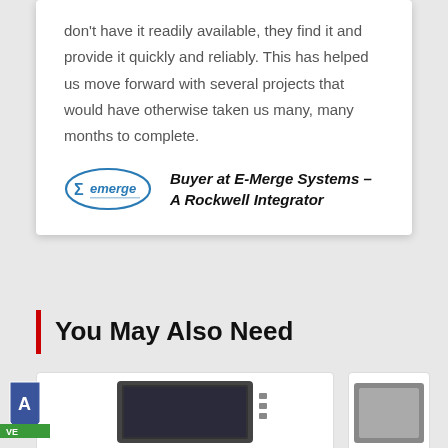don't have it readily available, they find it and provide it quickly and reliably. This has helped us move forward with several projects that would have otherwise taken us many, many months to complete.
Buyer at E-Merge Systems – A Rockwell Integrator
You May Also Need
[Figure (photo): Product thumbnail - industrial HMI touchscreen panel]
[Figure (photo): Product thumbnail - partially visible industrial device]
[Figure (logo): E-Merge Systems logo - oval shape with 'emerge' text and sigma symbol]